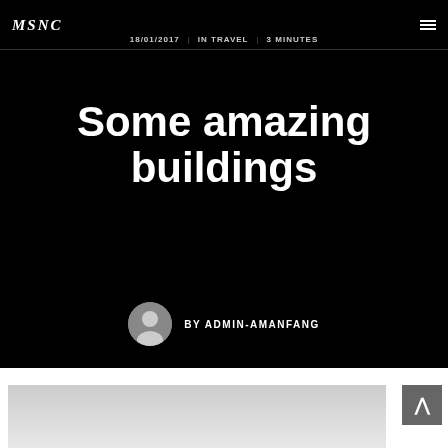MSNC
18/01/2017 | IN TRAVEL | 3 MINUTES
Some amazing buildings
BY ADMIN-AMANFANG
[Figure (photo): Partial view of a building photo in light grey tones at the bottom of the page]